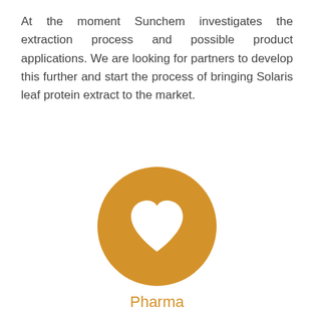At the moment Sunchem investigates the extraction process and possible product applications. We are looking for partners to develop this further and start the process of bringing Solaris leaf protein extract to the market.
[Figure (illustration): A golden/amber colored circle containing a white heart icon in the center, representing the Pharma category.]
Pharma